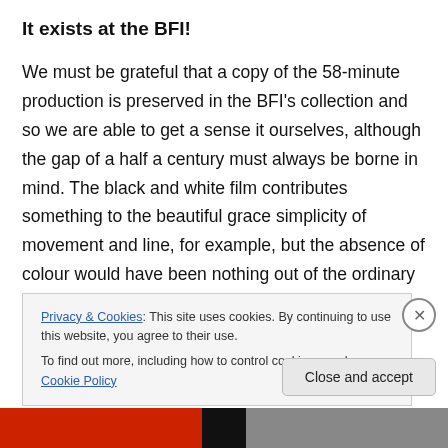It exists at the BFI!
We must be grateful that a copy of the 58-minute production is preserved in the BFI's collection and so we are able to get a sense it ourselves, although the gap of a half a century must always be borne in mind. The black and white film contributes something to the beautiful grace simplicity of movement and line, for example, but the absence of colour would have been nothing out of the ordinary for audiences of this time (since colour transmission didn't come in till the late 1960s: see
Privacy & Cookies: This site uses cookies. By continuing to use this website, you agree to their use.
To find out more, including how to control cookies, see here: Cookie Policy
Close and accept